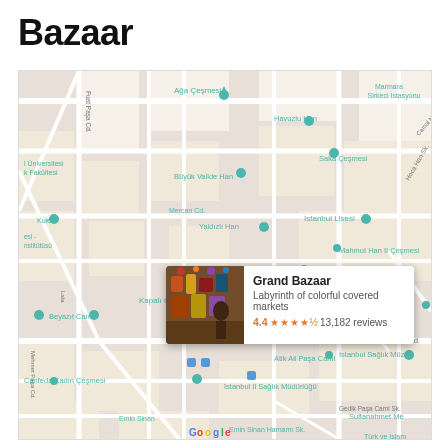Bazaar
[Figure (map): Google Maps screenshot showing the Grand Bazaar (Kapalı Çarşı) area in Istanbul, Turkey. Map labels include: Ağa Çeşmesi, Marmara Sirkeci İstasyonu, Havuzlu Han, Saka Çeşmesi, Büyük Valide Han, İstanbul Lisesi, Mahmut Han II Çeşmesi, Hasan Paşa Medresesi, Tarihi Çuğacı Han, Yaldızlı Han, Mercan Cd., Kapalı Çarşı, Beyazıt Camii, Atik Ali Paşa Cami, İstanbul Sağlık Müzesi, Canfeda Kadın Çeşmesi, İstanbul İl Sağlık Müdürlüğü, Sultanahmet Meydanı, Türk ve İslam. A popup card shows Grand Bazaar with rating 4.4 stars and 13,182 reviews.]